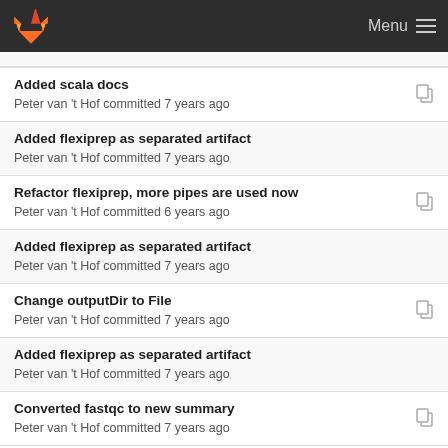Menu
Added scala docs
Peter van 't Hof committed 7 years ago
Added flexiprep as separated artifact
Peter van 't Hof committed 7 years ago
Refactor flexiprep, more pipes are used now
Peter van 't Hof committed 6 years ago
Added flexiprep as separated artifact
Peter van 't Hof committed 7 years ago
Change outputDir to File
Peter van 't Hof committed 7 years ago
Added flexiprep as separated artifact
Peter van 't Hof committed 7 years ago
Converted fastqc to new summary
Peter van 't Hof committed 7 years ago